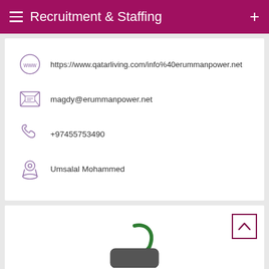Recruitment & Staffing
https://www.qatarliving.com/info%40erummanpower.net
magdy@erummanpower.net
+97455753490
Umsalal Mohammed
[Figure (screenshot): Scroll-to-top button with upward chevron arrow, dark red border]
[Figure (illustration): Partial app icon with green curved element visible at bottom of second card]
Back To School Essentials
Leesburg Premium Outlets